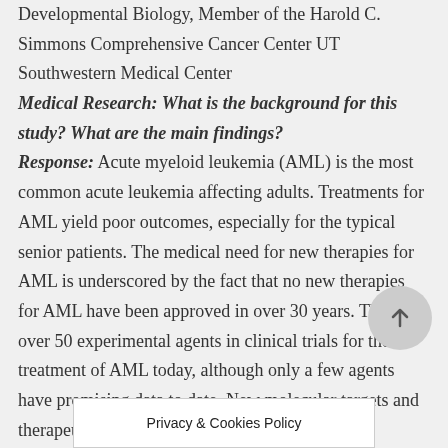Developmental Biology, Member of the Harold C. Simmons Comprehensive Cancer Center UT Southwestern Medical Center
Medical Research: What is the background for this study? What are the main findings?
Response: Acute myeloid leukemia (AML) is the most common acute leukemia affecting adults. Treatments for AML yield poor outcomes, especially for the typical senior patients. The medical need for new therapies for AML is underscored by the fact that no new therapies for AML have been approved in over 30 years. There are over 50 experimental agents in clinical trials for the treatment of AML today, although only a few agents have promising data to date. New molecular targets and therapeutic s... AML treatment. In 201...